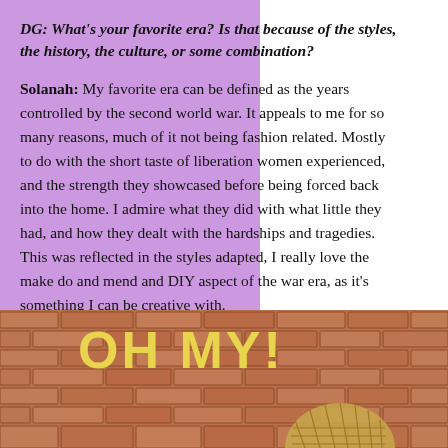DG: What's your favorite era? Is that because of the styles, the history, the culture, or some combination?
Solanah: My favorite era can be defined as the years controlled by the second world war. It appeals to me for so many reasons, much of it not being fashion related. Mostly to do with the short taste of liberation women experienced, and the strength they showcased before being forced back into the home. I admire what they did with what little they had, and how they dealt with the hardships and tragedies. This was reflected in the styles adapted, I really love the make do and mend and DIY aspect of the war era, as it's something I can be creative with.
[Figure (photo): Photo of a brick wall with large yellow letters spelling 'OH MY!' and a person wearing a snood/hair net visible at the bottom right]